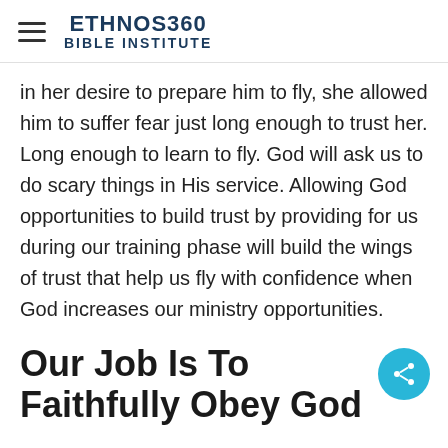ETHNOS360 BIBLE INSTITUTE
in her desire to prepare him to fly, she allowed him to suffer fear just long enough to trust her. Long enough to learn to fly. God will ask us to do scary things in His service. Allowing God opportunities to build trust by providing for us during our training phase will build the wings of trust that help us fly with confidence when God increases our ministry opportunities.
Our Job Is To Faithfully Obey God